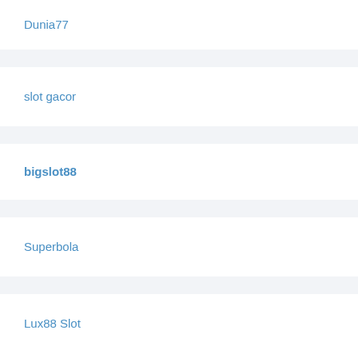Dunia77
slot gacor
bigslot88
Superbola
Lux88 Slot